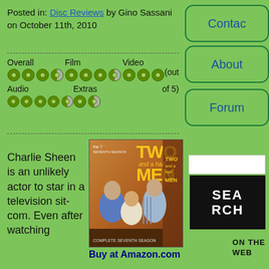Posted in: Disc Reviews by Gino Sassani on October 11th, 2010
| Category | Rating | Category | Rating | Out of |
| --- | --- | --- | --- | --- |
| Overall | 3.5 discs | Film | 3.5 discs | (out |
| Audio | 4 discs | Extras | 2 discs | of 5) |
|  |  | Video | 3 discs |  |
[Figure (photo): DVD cover of Two and a Half Men TV show featuring three male cast members]
Charlie Sheen is an unlikely actor to star in a television sit-com. Even after watching
Buy at Amazon.com
[Figure (other): Contact button (partially visible)]
[Figure (other): About button (partially visible)]
[Figure (other): Forum button (partially visible)]
SEARCH button
ON THE WEB